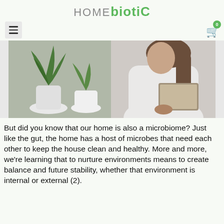HOME biotic
[Figure (photo): Photo of a woman in a white long-sleeve top reading a book, with green houseplants in white pots in the foreground, on a blurred indoor background.]
But did you know that our home is also a microbiome? Just like the gut, the home has a host of microbes that need each other to keep the house clean and healthy. More and more, we’re learning that to nurture environments means to create balance and future stability, whether that environment is internal or external (2).